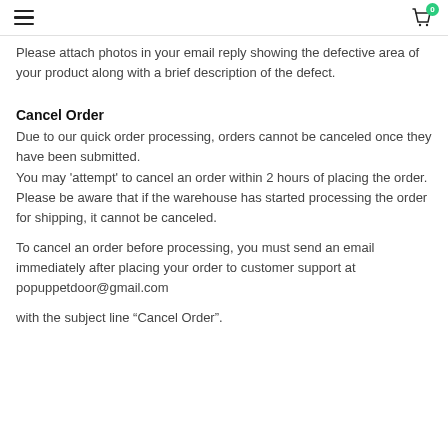≡  [cart icon with 0 badge]
Please attach photos in your email reply showing the defective area of your product along with a brief description of the defect.
Cancel Order
Due to our quick order processing, orders cannot be canceled once they have been submitted.
You may 'attempt' to cancel an order within 2 hours of placing the order. Please be aware that if the warehouse has started processing the order for shipping, it cannot be canceled.
To cancel an order before processing, you must send an email immediately after placing your order to customer support at popuppetdoor@gmail.com
with the subject line “Cancel Order”.